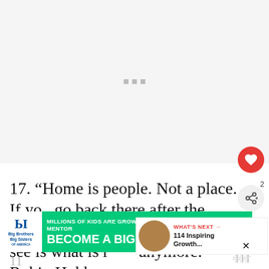[Figure (other): Gray placeholder image area with three small gray loading dots in the center]
17. “Home is people. Not a place. If you go back there after the people are gone, then all you can see is what is not there anymore.” – Robin Hobb
[Figure (other): WHAT'S NEXT arrow label with thumbnail and text: 114 Inspiring Growth...]
[Figure (other): Big Brothers Big Sisters advertisement: MILLIONS OF KIDS ARE GROWING UP WITHOUT A MENTOR. BECOME A BIG TODAY. Learn How button.]